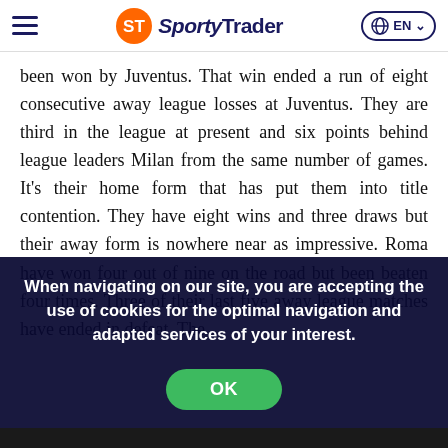SportyTrader — EN
been won by Juventus. That win ended a run of eight consecutive away league losses at Juventus. They are third in the league at present and six points behind league leaders Milan from the same number of games. It's their home form that has put them into title contention. They have eight wins and three draws but their away form is nowhere near as impressive. Roma have won four out of nine on the road but been beaten four times. Three of their last five away league matches have ended in defeat. The last ...
When navigating on our site, you are accepting the use of cookies for the optimal navigation and adapted services of your interest.
OK